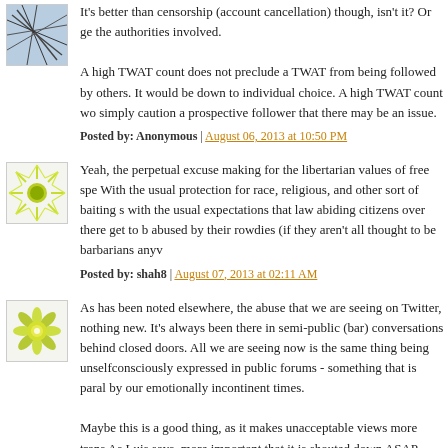It's better than censorship (account cancellation) though, isn't it? Or ge the authorities involved.
A high TWAT count does not preclude a TWAT from being followed by others. It would be down to individual choice. A high TWAT count wo simply caution a prospective follower that there may be an issue.
Posted by: Anonymous | August 06, 2013 at 10:50 PM
Yeah, the perpetual excuse making for the libertarian values of free spe With the usual protection for race, religious, and other sort of baiting s with the usual expectations that law abiding citizens over there get to b abused by their rowdies (if they aren't all thought to be barbarians anyv
Posted by: shah8 | August 07, 2013 at 02:11 AM
As has been noted elsewhere, the abuse that we are seeing on Twitter, nothing new. It's always been there in semi-public (bar) conversations behind closed doors. All we are seeing now is the same thing being unselfconsciously expressed in public forums - something that is paral by our emotionally incontinent times.
Maybe this is a good thing, as it makes unacceptable views more trans As Luis says, more important that it is shouted down ASAP.